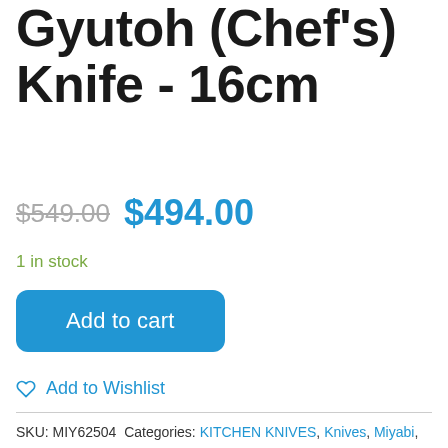Gyutoh (Chef's) Knife - 16cm
$549.00  $494.00
1 in stock
Add to cart
Add to Wishlist
SKU: MIY62504 Categories: KITCHEN KNIVES, Knives, Miyabi, New Arrivals, Shop by Brands, Shop by product, Specials & Clearances